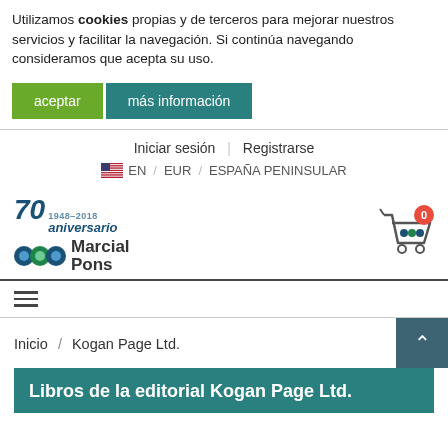Utilizamos cookies propias y de terceros para mejorar nuestros servicios y facilitar la navegación. Si continúa navegando consideramos que acepta su uso.
aceptar | más información
Iniciar sesión | Registrarse
🇺🇸 EN / EUR / ESPAÑA PENINSULAR
[Figure (logo): Marcial Pons 70 aniversario 1948–2018 logo with colored circle icons]
[Figure (illustration): Shopping cart icon with red badge showing 0]
≡ (hamburger menu)
Inicio / Kogan Page Ltd.
Libros de la editorial Kogan Page Ltd.